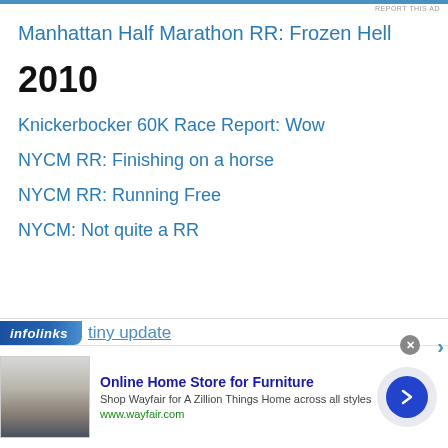REPORT THIS AD
Manhattan Half Marathon RR: Frozen Hell
2010
Knickerbocker 60K Race Report: Wow
NYCM RR: Finishing on a horse
NYCM RR: Running Free
NYCM: Not quite a RR
[Figure (screenshot): Infolinks ad overlay banner with partial text 'tiny update' visible, and Wayfair advertisement showing furniture image with text 'Online Home Store for Furniture', 'Shop Wayfair for A Zillion Things Home across all styles', 'www.wayfair.com', close button and arrow navigation button.]